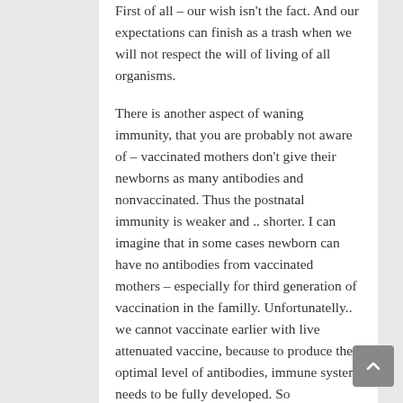First of all – our wish isn't the fact. And our expectations can finish as a trash when we will not respect the will of living of all organisms.
There is another aspect of waning immunity, that you are probably not aware of – vaccinated mothers don't give their newborns as many antibodies and nonvaccinated. Thus the postnatal immunity is weaker and .. shorter. I can imagine that in some cases newborn can have no antibodies from vaccinated mothers – especially for third generation of vaccination in the familly. Unfortunatelly.. we cannot vaccinate earlier with live attenuated vaccine, because to produce the optimal level of antibodies, immune system needs to be fully developed. So